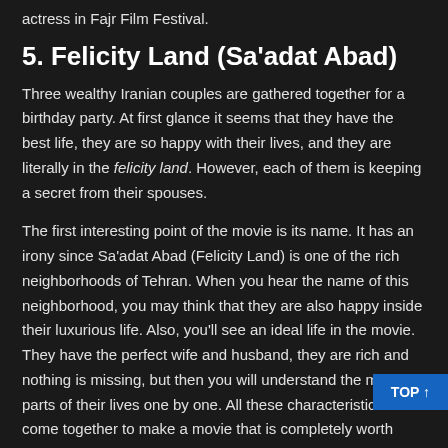actress in Fajr Film Festival.
5. Felicity Land (Sa'adat Abad)
Three wealthy Iranian couples are gathered together for a birthday party. At first glance it seems that they have the best life, they are so happy with their lives, and they are literally in the felicity land. However, each of them is keeping a secret from their spouses.
The first interesting point of the movie is its name. It has an irony since Sa'adat Abad (Felicity Land) is one of the rich neighborhoods of Tehran. When you hear the name of this neighborhood, you may think that they are also happy inside their luxurious life. Also, you'll see an ideal life in the movie. They have the perfect wife and husband, they are rich and nothing is missing, but then you will understand the missing parts of their lives one by one. All these characteristics have come together to make a movie that is completely worth watching. The characters